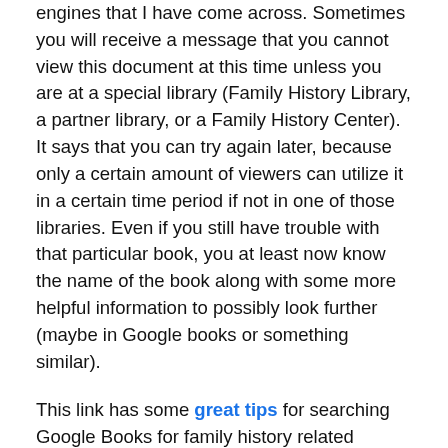engines that I have come across. Sometimes you will receive a message that you cannot view this document at this time unless you are at a special library (Family History Library, a partner library, or a Family History Center). It says that you can try again later, because only a certain amount of viewers can utilize it in a certain time period if not in one of those libraries. Even if you still have trouble with that particular book, you at least now know the name of the book along with some more helpful information to possibly look further (maybe in Google books or something similar).
This link has some great tips for searching Google Books for family history related books.
Books We Own ~ A free look-up resource for international genealogical research. You may need to reimburse the volunteer if you have them acquire the information.